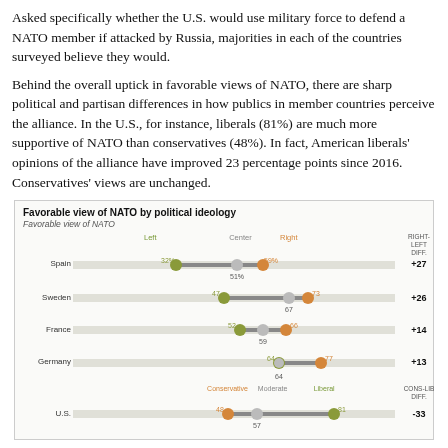Asked specifically whether the U.S. would use military force to defend a NATO member if attacked by Russia, majorities in each of the countries surveyed believe they would.
Behind the overall uptick in favorable views of NATO, there are sharp political and partisan differences in how publics in member countries perceive the alliance. In the U.S., for instance, liberals (81%) are much more supportive of NATO than conservatives (48%). In fact, American liberals' opinions of the alliance have improved 23 percentage points since 2016. Conservatives' views are unchanged.
[Figure (dot-plot): Favorable view of NATO by political ideology]